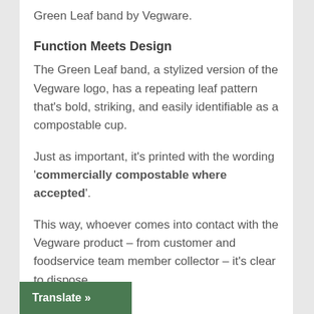Green Leaf band by Vegware.
Function Meets Design
The Green Leaf band, a stylized version of the Vegware logo, has a repeating leaf pattern that's bold, striking, and easily identifiable as a compostable cup.
Just as important, it's printed with the wording 'commercially compostable where accepted'.
This way, whoever comes into contact with the Vegware product – from customer and foodservice team member collector – it's clear to dispose